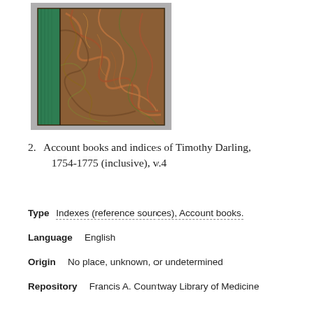[Figure (photo): Photograph of an old book with green cloth spine and marbled brown, green, and orange patterned cover board, resting on a gray surface.]
2.  Account books and indices of Timothy Darling, 1754-1775 (inclusive), v.4
Type   Indexes (reference sources), Account books.
Language   English
Origin   No place, unknown, or undetermined
Repository   Francis A. Countway Library of Medicine